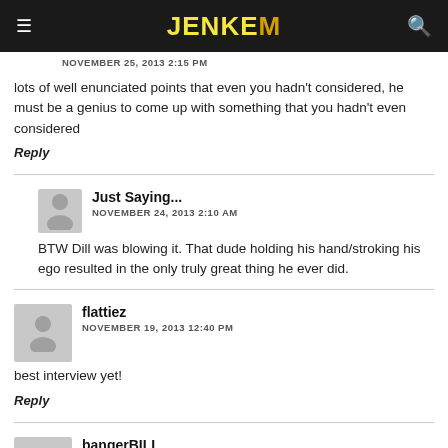JENKEM
NOVEMBER 25, 2013 2:15 PM
lots of well enunciated points that even you hadn't considered, he must be a genius to come up with something that you hadn't even considered
Reply
Just Saying... NOVEMBER 24, 2013 2:10 AM
BTW Dill was blowing it. That dude holding his hand/stroking his ego resulted in the only truly great thing he ever did.
flattiez NOVEMBER 19, 2013 12:40 PM
best interview yet!
Reply
bangerBILL NOVEMBER 19, 2013 12:44 PM